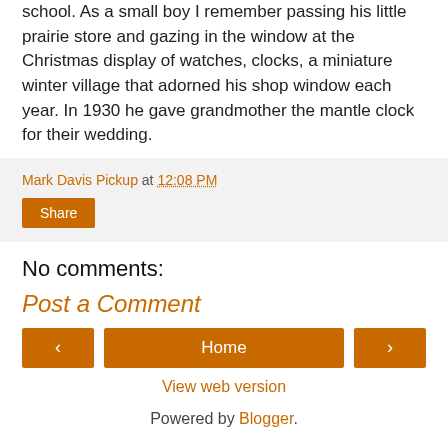school. As a small boy I remember passing his little prairie store and gazing in the window at the Christmas display of watches, clocks, a miniature winter village that adorned his shop window each year. In 1930 he gave grandmother the mantle clock for their wedding.
Mark Davis Pickup at 12:08 PM
Share
No comments:
Post a Comment
‹ Home › View web version
Powered by Blogger.